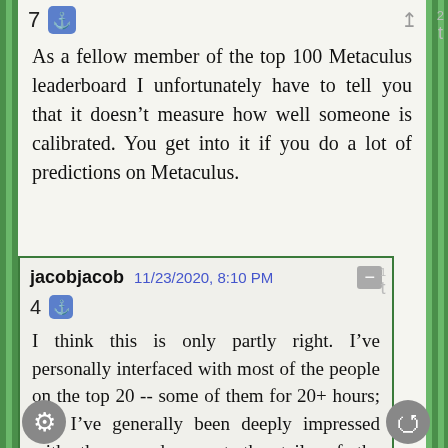7
As a fellow member of the top 100 Metaculus leaderboard I unfortunately have to tell you that it doesn't measure how well someone is calibrated. You get into it if you do a lot of predictions on Metaculus.
jacobjacob  11/23/2020, 8:10 PM
4
I think this is only partly right. I've personally interfaced with most of the people on the top 20 -- some of them for 20+ hours; and I've generally been deeply impressed with them; and expect the tails of the Metaculus rankings to track important stuff about people's cognition.